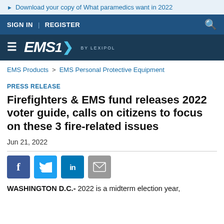Download your copy of What paramedics want in 2022
SIGN IN | REGISTER
[Figure (logo): EMS1 by Lexipol logo on dark blue background with hamburger menu]
EMS Products > EMS Personal Protective Equipment
PRESS RELEASE
Firefighters & EMS fund releases 2022 voter guide, calls on citizens to focus on these 3 fire-related issues
Jun 21, 2022
[Figure (infographic): Social sharing buttons: Facebook, Twitter, LinkedIn, Email]
WASHINGTON D.C.- 2022 is a midterm election year,